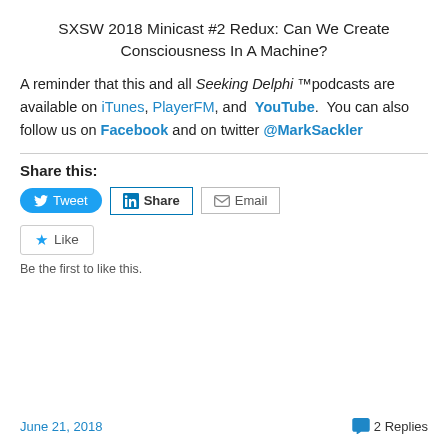SXSW 2018 Minicast #2 Redux: Can We Create Consciousness In A Machine?
A reminder that this and all Seeking Delphi ™podcasts are available on iTunes, PlayerFM, and YouTube.  You can also follow us on Facebook and on twitter @MarkSackler
Share this:
[Figure (other): Tweet, LinkedIn Share, and Email social sharing buttons]
[Figure (other): Like button widget with star icon]
Be the first to like this.
June 21, 2018   2 Replies